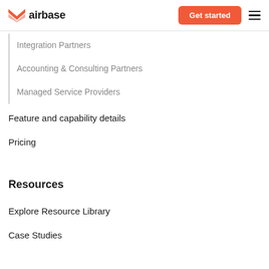airbase — Get started
Integration Partners
Accounting & Consulting Partners
Managed Service Providers
Feature and capability details
Pricing
Resources
Explore Resource Library
Case Studies